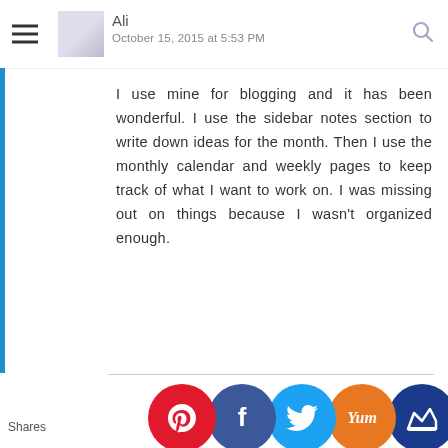Ali
October 15, 2015 at 5:53 PM
I use mine for blogging and it has been wonderful. I use the sidebar notes section to write down ideas for the month. Then I use the monthly calendar and weekly pages to keep track of what I want to work on. I was missing out on things because I wasn't organized enough.
The Resourceful Mama
October 22, 2015 at 1:11 PM
I've heard great things abou...rs.
Shares  CK TO